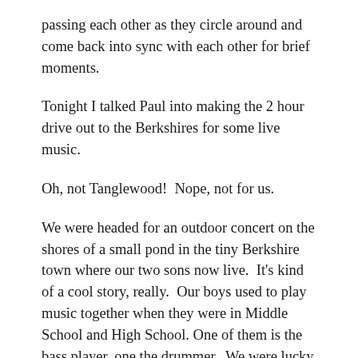passing each other as they circle around and come back into sync with each other for brief moments.
Tonight I talked Paul into making the 2 hour drive out to the Berkshires for some live music.
Oh, not Tanglewood!  Nope, not for us.
We were headed for an outdoor concert on the shores of a small pond in the tiny Berkshire town where our two sons now live.  It's kind of a cool story, really.  Our boys used to play music together when they were in Middle School and High School. One of them is the bass player, one the drummer.  We were lucky enough, as the parents of the drummer, to host the band in our basement for 6 very interesting years. We went through a lot of amazing growth together, including some great but